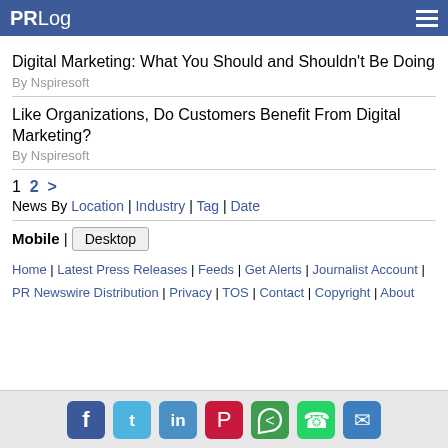PRLog
Digital Marketing: What You Should and Shouldn't Be Doing
By Nspiresoft
Like Organizations, Do Customers Benefit From Digital Marketing?
By Nspiresoft
1  2  >
News By Location | Industry | Tag | Date
Mobile | Desktop
Home | Latest Press Releases | Feeds | Get Alerts | Journalist Account | PR Newswire Distribution | Privacy | TOS | Contact | Copyright | About
[Figure (infographic): Social media share icons: Facebook, Twitter, LinkedIn, Pinterest, Share, WhatsApp, Email]